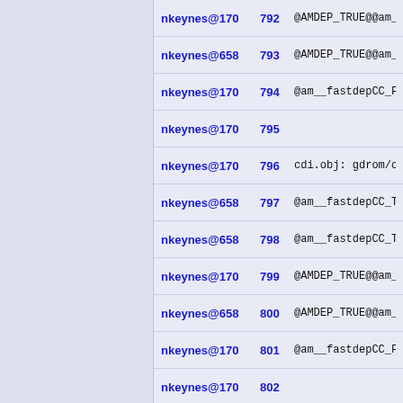| Author | Line | Content |
| --- | --- | --- |
| nkeynes@170 | 792 | @AMDEP_TRUE@@am__ |
| nkeynes@658 | 793 | @AMDEP_TRUE@@am__f |
| nkeynes@170 | 794 | @am__fastdepCC_FAL |
| nkeynes@170 | 795 |  |
| nkeynes@170 | 796 | cdi.obj: gdrom/cdi |
| nkeynes@658 | 797 | @am__fastdepCC_TRU |
| nkeynes@658 | 798 | @am__fastdepCC_TRU |
| nkeynes@170 | 799 | @AMDEP_TRUE@@am__f |
| nkeynes@658 | 800 | @AMDEP_TRUE@@am__f |
| nkeynes@170 | 801 | @am__fastdepCC_FAL |
| nkeynes@170 | 802 |  |